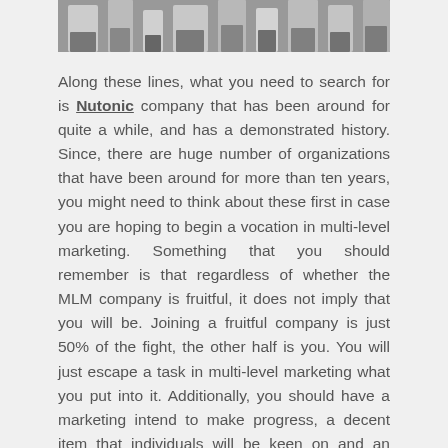[Figure (photo): Cropped photo strip showing a group of people standing, partial view of legs, torsos and arms in business/casual attire]
Along these lines, what you need to search for is Nutonic company that has been around for quite a while, and has a demonstrated history. Since, there are huge number of organizations that have been around for more than ten years, you might need to think about these first in case you are hoping to begin a vocation in multi-level marketing. Something that you should remember is that regardless of whether the MLM company is fruitful, it does not imply that you will be. Joining a fruitful company is just 50% of the fight, the other half is you. You will just escape a task in multi-level marketing what you put into it. Additionally, you should have a marketing intend to make progress, a decent item that individuals will be keen on and an excellent experienced tutor to direct you along your way.
A portion of the reasons that you probably should not get into the field of multi-level marketing are these, if the company is spic and span, obviously it